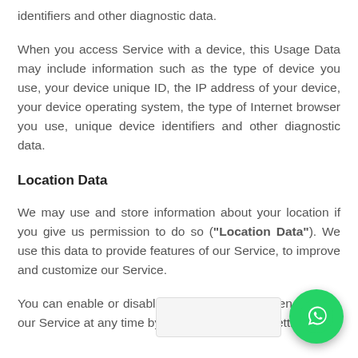identifiers and other diagnostic data.
When you access Service with a device, this Usage Data may include information such as the type of device you use, your device unique ID, the IP address of your device, your device operating system, the type of Internet browser you use, unique device identifiers and other diagnostic data.
Location Data
We may use and store information about your location if you give us permission to do so (“Location Data”). We use this data to provide features of our Service, to improve and customize our Service.
You can enable or disable location services when you use our Service at any time by way of your device settings.
Tracking Cookies Data